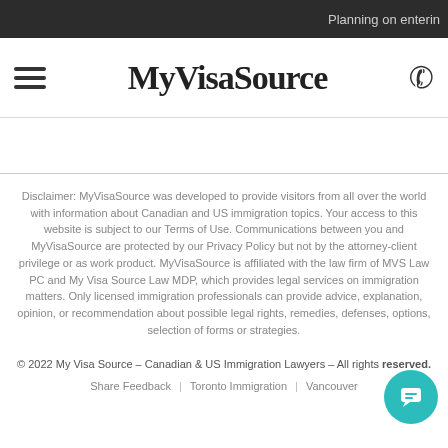Planning on enterin
MyVisaSource
Disclaimer: MyVisaSource was developed to provide visitors from all over the world with information about Canadian and US immigration topics. Your access to this website is subject to our Terms of Use. Communications between you and MyVisaSource are protected by our Privacy Policy but not by the attorney-client privilege or as work product. MyVisaSource is affiliated with the law firm of MVS Law PC and My Visa Source Law MDP, which provides legal services on immigration matters. Only licensed immigration professionals can provide advice, explanation, opinion, or recommendation about possible legal rights, remedies, defenses, options, selection of forms or strategies.
© 2022 My Visa Source – Canadian & US Immigration Lawyers – All rights reserved.
Share Feedback | Toronto Immigration | Vancouver